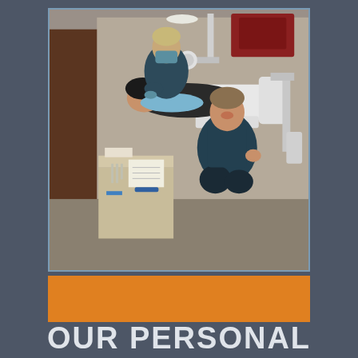[Figure (photo): Dental office scene showing two dental professionals in dark scrubs working on a patient reclined in a dental chair. One professional is wearing a face mask and working in the patient's mouth. The other professional is crouching next to the patient smiling at the camera. Dental equipment and tools are visible in the background.]
OUR PERSONAL